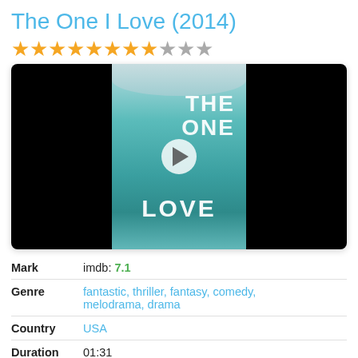The One I Love (2014)
★★★★★★★★☆★★
[Figure (photo): Movie poster/thumbnail for 'The One I Love (2014)' showing two people in teal water with the film title text, overlaid with a play button icon. Black bars on left and right sides.]
|  |  |
| --- | --- |
| Mark | imdb: 7.1 |
| Genre | fantastic, thriller, fantasy, comedy, melodrama, drama |
| Country | USA |
| Duration | 01:31 |